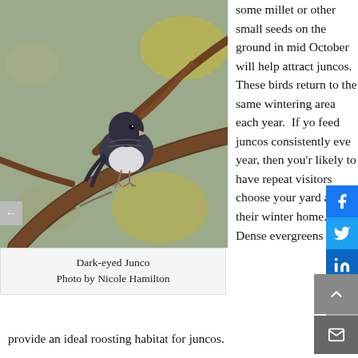[Figure (photo): Dark-eyed Junco bird perched on a branch, photo by Nicole Hamilton. Bird has dark grey/slate head and upper body with pale white belly, sitting on a brown branch with blurred autumn foliage background.]
Dark-eyed Junco
Photo by Nicole Hamilton
some millet or other small seeds on the ground in mid October will help attract juncos. These birds return to the same wintering area each year.  If you feed juncos consistently every year, then you're likely to have repeat visitors choose your yard as their winter home. Dense evergreens provide an ideal roosting habitat for juncos.